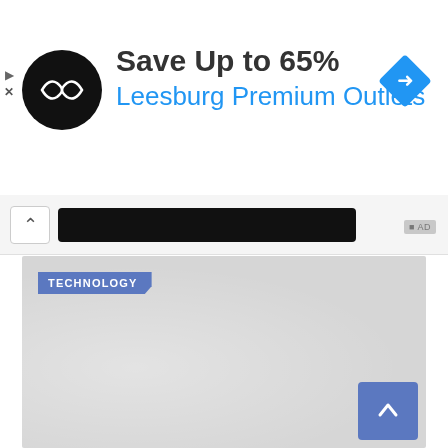[Figure (screenshot): Advertisement banner for Leesburg Premium Outlets showing logo, 'Save Up to 65%' text, outlet name in blue, and navigation icon]
Save Up to 65%
Leesburg Premium Outlets
[Figure (screenshot): Browser address bar with dark URL bar and chevron up icon]
AD
[Figure (photo): Article image placeholder (gray) with TECHNOLOGY category label in blue at top-left and scroll-to-top button at bottom-right]